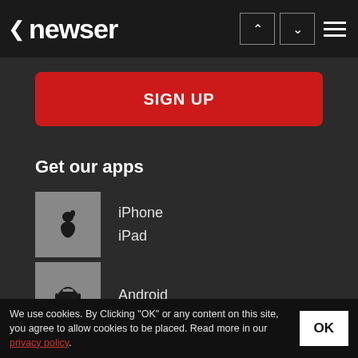< newser
SIGN UP
Get our apps
iPhone
iPad
Android
Windows
Suggest a Story
We use cookies. By Clicking "OK" or any content on this site, you agree to allow cookies to be placed. Read more in our privacy policy.